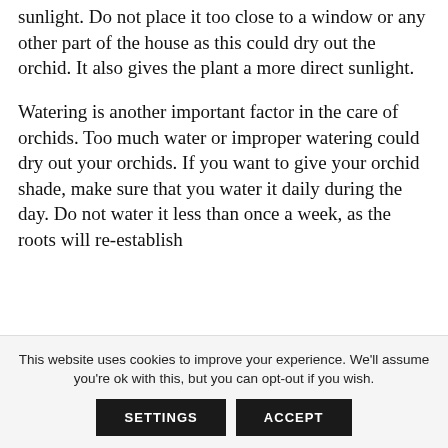sunlight. Do not place it too close to a window or any other part of the house as this could dry out the orchid. It also gives the plant a more direct sunlight.
Watering is another important factor in the care of orchids. Too much water or improper watering could dry out your orchids. If you want to give your orchid shade, make sure that you water it daily during the day. Do not water it less than once a week, as the roots will re-establish
This website uses cookies to improve your experience. We'll assume you're ok with this, but you can opt-out if you wish.
SETTINGS   ACCEPT